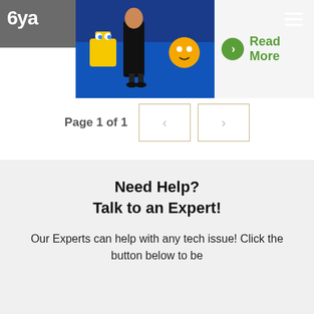6ya
[Figure (screenshot): Partial view of a website card showing a photo with animated characters (SpongeBob) on a blue background, a green circle arrow button, and 'Read More' text in green]
Page 1 of 1
Need Help?
Talk to an Expert!
Our Experts can help with any tech issue! Click the button below to be